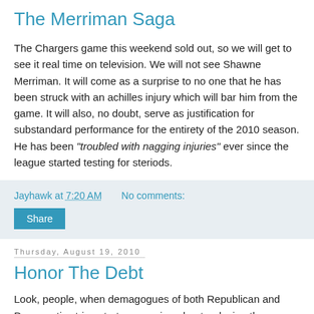The Merriman Saga
The Chargers game this weekend sold out, so we will get to see it real time on television. We will not see Shawne Merriman. It will come as a surprise to no one that he has been struck with an achilles injury which will bar him from the game. It will also, no doubt, serve as justification for substandard performance for the entirety of the 2010 season. He has been "troubled with nagging injuries" ever since the league started testing for steriods.
Jayhawk at 7:20 AM   No comments:
Share
Thursday, August 19, 2010
Honor The Debt
Look, people, when demagogues of both Republican and Democratic stripe start yammering about reducing the